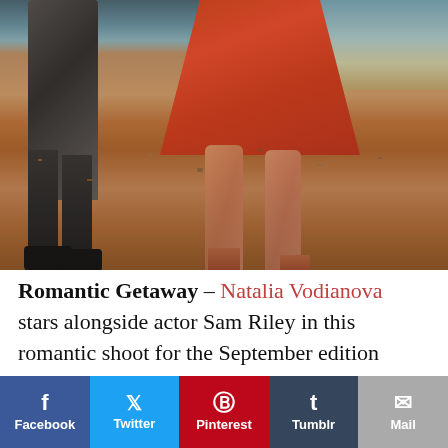[Figure (photo): A beach photo showing two people standing on a pebble beach. One person (left) wears dark trousers and dark shoes. The other person (right) wears a red/coral skirt and heels. Only their lower bodies/legs are visible. Warm vintage-toned photograph with sea visible in top right background.]
Romantic Getaway – Natalia Vodianova stars alongside actor Sam Riley in this romantic shoot for the September edition
Facebook | Twitter | Pinterest | Tumblr | Mail